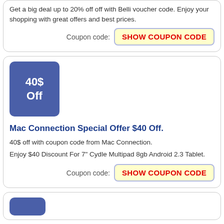Get a big deal up to 20% off off with Belli voucher code. Enjoy your shopping with great offers and best prices.
Coupon code: SHOW COUPON CODE
[Figure (other): Blue badge showing '40$ Off']
Mac Connection Special Offer $40 Off.
40$ off with coupon code from Mac Connection.
Enjoy $40 Discount For 7" Cydle Multipad 8gb Android 2.3 Tablet.
Coupon code: SHOW COUPON CODE